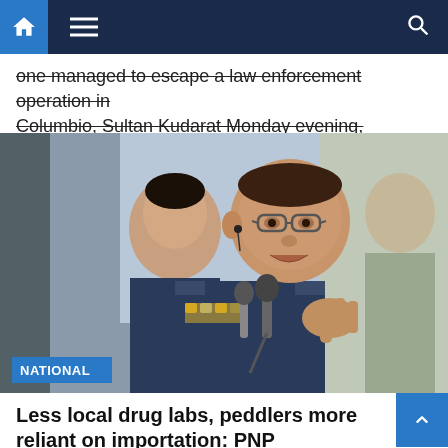Navigation bar with home, menu, and search icons
one managed to escape a law enforcement operation in Columbio, Sultan Kudarat Monday evening, police…
[Figure (photo): Two Philippine National Police officers in dark navy blue uniforms with medals and badges. The officer in the foreground, wearing glasses, is gesturing with his hand and speaking into a microphone. A second officer stands behind him. A blue 'NATIONAL' tag appears at the bottom left of the image.]
Less local drug labs, peddlers more reliant on importation: PNP
4 years ago   Northbound Philippines News Online
MANILA — Drug lords have become more dependent in